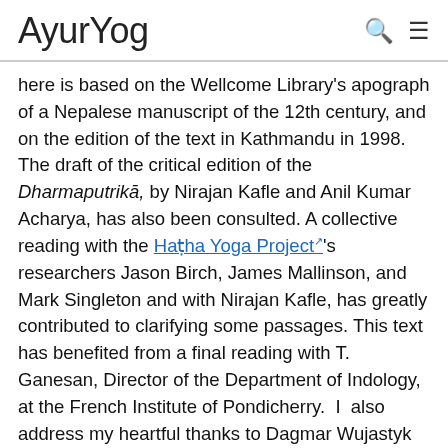AyurYog
here is based on the Wellcome Library's apograph of a Nepalese manuscript of the 12th century, and on the edition of the text in Kathmandu in 1998. The draft of the critical edition of the Dharmaputrikā, by Nirajan Kafle and Anil Kumar Acharya, has also been consulted. A collective reading with the Haṭha Yoga Project's researchers Jason Birch, James Mallinson, and Mark Singleton and with Nirajan Kafle, has greatly contributed to clarifying some passages. This text has benefited from a final reading with T. Ganesan, Director of the Department of Indology, at the French Institute of Pondicherry.  I  also address my heartful thanks to Dagmar Wujastyk for her several valuable suggestions. An article that will give the critical apparatus of the Sanskrit text is forthcoming.